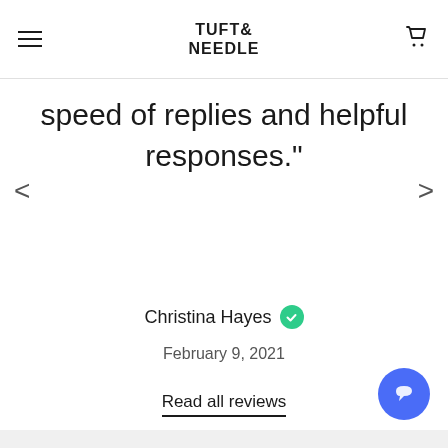TUFT & NEEDLE
speed of replies and helpful responses."
Christina Hayes
February 9, 2021
Read all reviews